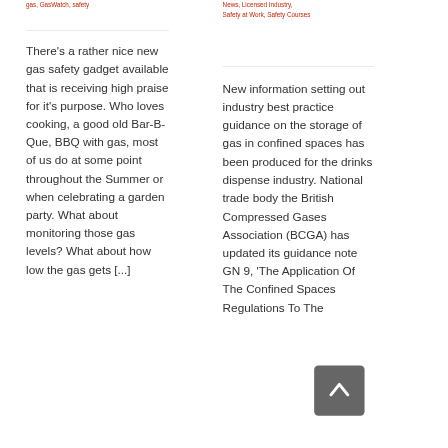gas, GasWatch, safety
News, Licensed Industry, Safety at Work, Safety Courses
There's a rather nice new gas safety gadget available that is receiving high praise for it's purpose. Who loves cooking, a good old Bar-B-Que, BBQ with gas, most of us do at some point throughout the Summer or when celebrating a garden party. What about monitoring those gas levels? What about how low the gas gets [...]
New information setting out industry best practice guidance on the storage of gas in confined spaces has been produced for the drinks dispense industry. National trade body the British Compressed Gases Association (BCGA) has updated its guidance note GN 9, 'The Application Of The Confined Spaces Regulations To The